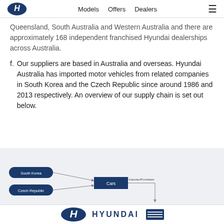Models  Offers  Dealers
Queensland, South Australia and Western Australia and there are approximately 168 independent franchised Hyundai dealerships across Australia.
f. Our suppliers are based in Australia and overseas. Hyundai Australia has imported motor vehicles from related companies in South Korea and the Czech Republic since around 1986 and 2013 respectively. An overview of our supply chain is set out below.
[Figure (flowchart): Supply chain diagram showing South Korea and Czech Republic nodes connecting with arrows to a 'Cars' box, which connects via 'Importer/Purchaser' label to a downward arrow. Hyundai logo visible at bottom.]